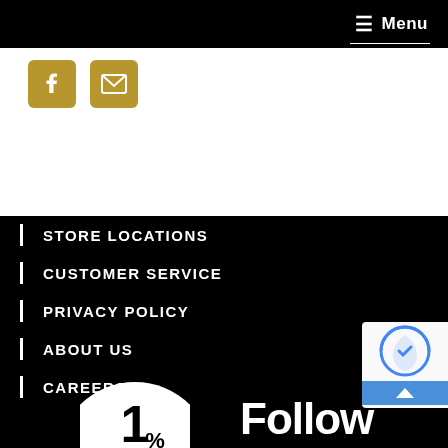Menu
[Figure (logo): Facebook icon (gold) and email/envelope icon (gold) social media links]
STORE LOCATIONS
CUSTOMER SERVICE
PRIVACY POLICY
ABOUT US
CAREERS
[Figure (logo): 1% circular logo badge at bottom left, partial view]
Follow